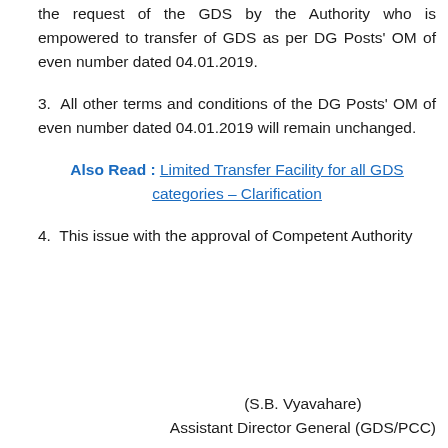the request of the GDS by the Authority who is empowered to transfer of GDS as per DG Posts' OM of even number dated 04.01.2019.
3. All other terms and conditions of the DG Posts' OM of even number dated 04.01.2019 will remain unchanged.
Also Read : Limited Transfer Facility for all GDS categories – Clarification
4. This issue with the approval of Competent Authority
(S.B. Vyavahare)
Assistant Director General (GDS/PCC)